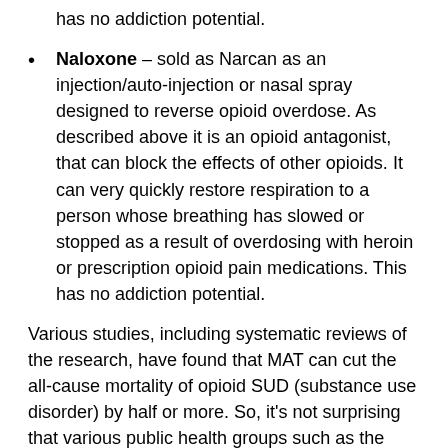has no addiction potential.
Naloxone – sold as Narcan as an injection/auto-injection or nasal spray designed to reverse opioid overdose.  As described above it is an opioid antagonist, that can block the effects of other opioids.  It can very quickly restore respiration to a person whose breathing has slowed or stopped as a result of overdosing with heroin or prescription opioid pain medications. This has no addiction potential.
Various studies, including systematic reviews of the research, have found that MAT can cut the all-cause mortality of opioid SUD (substance use disorder) by half or more.  So, it's not surprising that various public health groups such as the CDC, NIDA (the National Institute on Drug Abuse), and the WHO recommend it.
There has also consequently been a passionate and